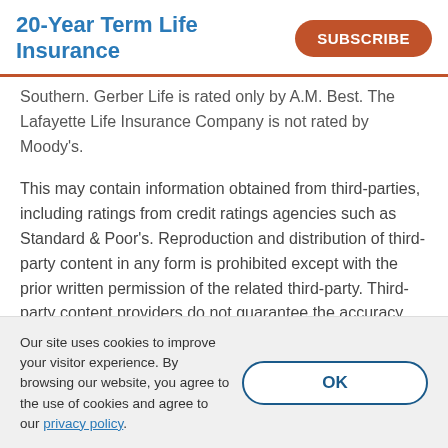20-Year Term Life Insurance
Southern. Gerber Life is rated only by A.M. Best. The Lafayette Life Insurance Company is not rated by Moody's.
This may contain information obtained from third-parties, including ratings from credit ratings agencies such as Standard & Poor's. Reproduction and distribution of third-party content in any form is prohibited except with the prior written permission of the related third-party. Third-party content providers do not guarantee the accuracy, completeness, timeliness or...
Our site uses cookies to improve your visitor experience. By browsing our website, you agree to the use of cookies and agree to our privacy policy.